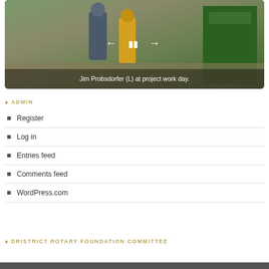[Figure (photo): Photo of Jim Probsdorfer (L) at project work day, showing people outdoors near machinery and equipment. Caption reads: Jim Probsdorfer (L) at project work day.]
ADMIN
Register
Log in
Entries feed
Comments feed
WordPress.com
DRISTRICT ROTARY FOUNDATION COMMITTEE